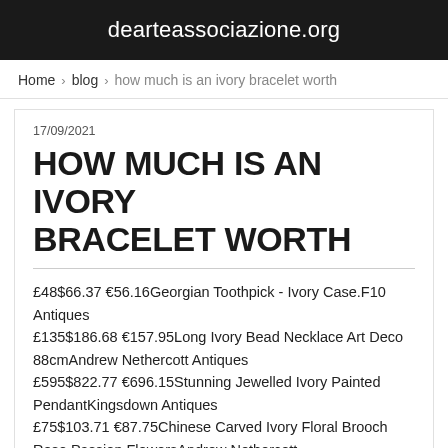dearteassociazione.org
Home › blog › how much is an ivory bracelet worth
17/09/2021
HOW MUCH IS AN IVORY BRACELET WORTH
£48$66.37 €56.16Georgian Toothpick - Ivory Case.F10 Antiques
£135$186.68 €157.95Long Ivory Bead Necklace Art Deco 88cmAndrew Nethercott Antiques
£595$822.77 €696.15Stunning Jewelled Ivory Painted PendantKingsdown Antiques
£75$103.71 €87.75Chinese Carved Ivory Floral Brooch Rose Passion FlowersAndrew Nethercott